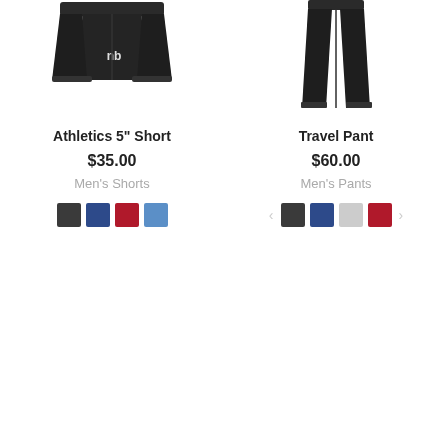[Figure (photo): Black New Balance Athletics 5 inch shorts product image on white background]
[Figure (photo): Black New Balance Travel Pant product image on white background]
Athletics 5" Short
$35.00
Men's Shorts
Travel Pant
$60.00
Men's Pants